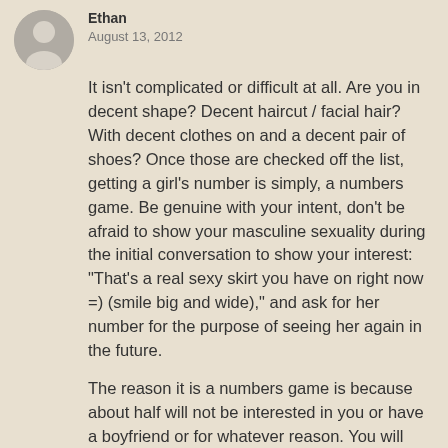Ethan
August 13, 2012
It isn't complicated or difficult at all. Are you in decent shape? Decent haircut / facial hair? With decent clothes on and a decent pair of shoes? Once those are checked off the list, getting a girl's number is simply, a numbers game. Be genuine with your intent, don't be afraid to show your masculine sexuality during the initial conversation to show your interest: "That's a real sexy skirt you have on right now =) (smile big and wide)," and ask for her number for the purpose of seeing her again in the future.
The reason it is a numbers game is because about half will not be interested in you or have a boyfriend or for whatever reason. You will never get every woman you approach but as long as you approach consistently you are guaranteed to have women interested in you.
Reply
Heath
August 7, 2012